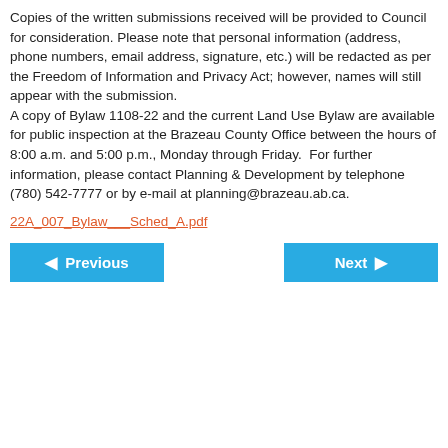Copies of the written submissions received will be provided to Council for consideration. Please note that personal information (address, phone numbers, email address, signature, etc.) will be redacted as per the Freedom of Information and Privacy Act; however, names will still appear with the submission. A copy of Bylaw 1108-22 and the current Land Use Bylaw are available for public inspection at the Brazeau County Office between the hours of 8:00 a.m. and 5:00 p.m., Monday through Friday.  For further information, please contact Planning & Development by telephone (780) 542-7777 or by e-mail at planning@brazeau.ab.ca.
22A_007_Bylaw___Sched_A.pdf